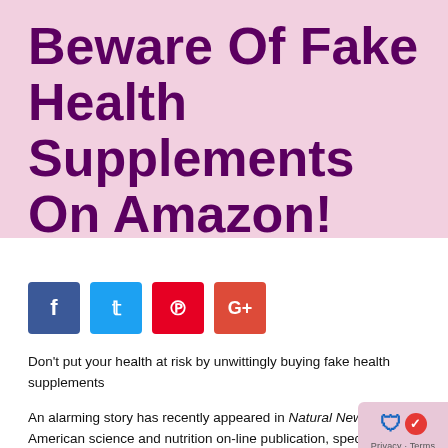Beware Of Fake Health Supplements On Amazon!
[Figure (other): Social sharing buttons: Facebook (blue), Twitter (light blue), Pinterest (red), Google+ (orange-red)]
Don't put your health at risk by unwittingly buying fake health supplements
An alarming story has recently appeared in Natural News, an American science and nutrition on-line publication, specialising in